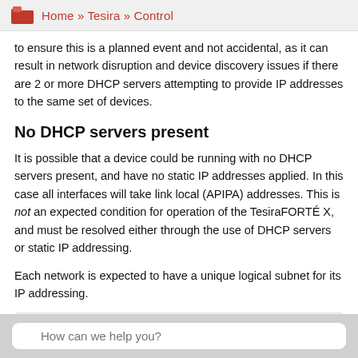Home » Tesira » Control
to ensure this is a planned event and not accidental, as it can result in network disruption and device discovery issues if there are 2 or more DHCP servers attempting to provide IP addresses to the same set of devices.
No DHCP servers present
It is possible that a device could be running with no DHCP servers present, and have no static IP addresses applied. In this case all interfaces will take link local (APIPA) addresses. This is not an expected condition for operation of the TesiraFORTÉ X, and must be resolved either through the use of DHCP servers or static IP addressing.
Each network is expected to have a unique logical subnet for its IP addressing.
Device interconnections